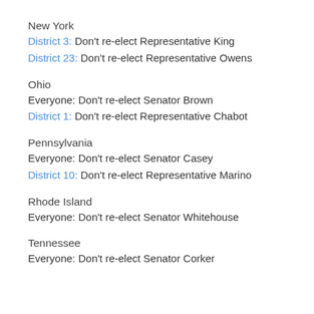New York
District 3: Don't re-elect Representative King
District 23: Don't re-elect Representative Owens
Ohio
Everyone: Don't re-elect Senator Brown
District 1: Don't re-elect Representative Chabot
Pennsylvania
Everyone: Don't re-elect Senator Casey
District 10: Don't re-elect Representative Marino
Rhode Island
Everyone: Don't re-elect Senator Whitehouse
Tennessee
Everyone: Don't re-elect Senator Corker